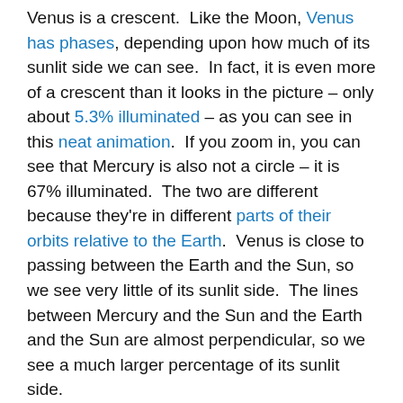Venus is a crescent. Like the Moon, Venus has phases, depending upon how much of its sunlit side we can see. In fact, it is even more of a crescent than it looks in the picture – only about 5.3% illuminated – as you can see in this neat animation. If you zoom in, you can see that Mercury is also not a circle – it is 67% illuminated. The two are different because they're in different parts of their orbits relative to the Earth. Venus is close to passing between the Earth and the Sun, so we see very little of its sunlit side. The lines between Mercury and the Sun and the Earth and the Sun are almost perpendicular, so we see a much larger percentage of its sunlit side.
I have rarely seen Mercury, so this was a real treat. It'll be visible for a few more weeks in the evening sky, so if the clouds stay away, I'll have another look.